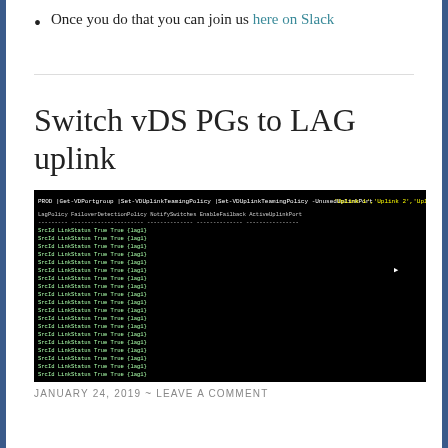Once you do that you can join us here on Slack
Switch vDS PGs to LAG uplink
[Figure (screenshot): Terminal/PowerShell screenshot showing output of a command: 'PROD | Get-VDPortgroup | Set-VDUplinkTeamingPolicy | Set-VDUplinkTeamingPolicy -UnusedUplinkPort "Uplink 1","Uplink 2","Uplink...' with columns: LagPolicy, FailoverDetectionPolicy, NotifySwitches, EnableFailback, ActiveUplinkPort. Multiple rows showing SrcId, LinkStatus, True, True, {lag1} values on black background.]
JANUARY 24, 2019 ~ LEAVE A COMMENT